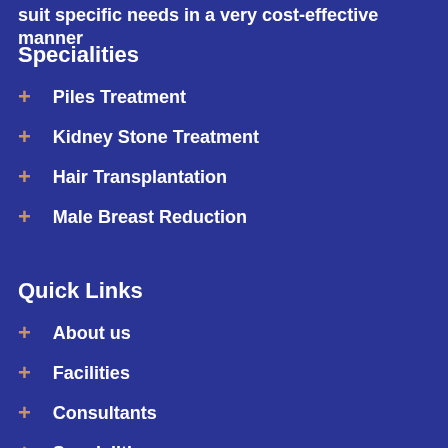suit specific needs in a very cost-effective manner
Specialities
Piles Treatment
Kidney Stone Treatment
Hair Transplantation
Male Breast Reduction
Quick Links
About us
Facilities
Consultants
Specialities